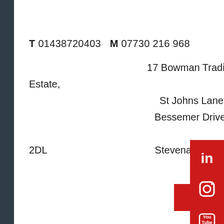London
T 01438720403   M 07730 216 968
17 Bowman Trading Estate,
St Johns Lane
Bessemer Drive,
Stevenage, SG1 2DL

3rd Floor, 8-11
St Johns Lane
London
EC1M4BF
Email
[Figure (illustration): Social media icons bar on right side: LinkedIn, Instagram, YouTube]